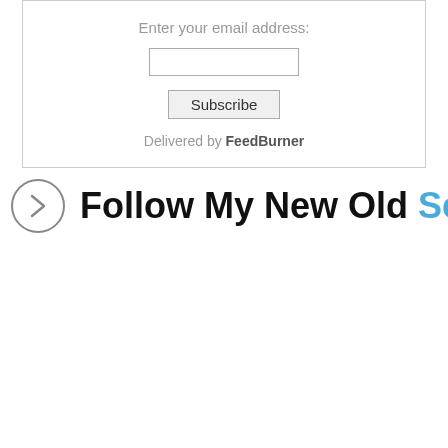Enter your email address:
Delivered by FeedBurner
Follow My New Old Self on Twitter